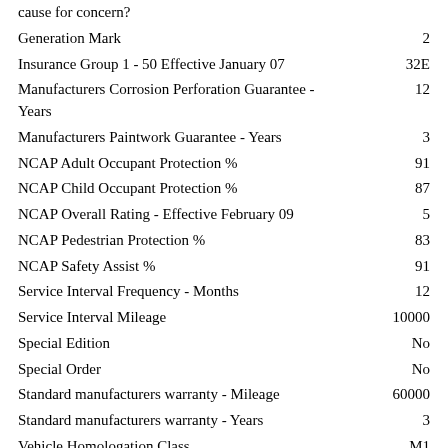| Attribute | Value |
| --- | --- |
| cause for concern? |  |
| Generation Mark | 2 |
| Insurance Group 1 - 50 Effective January 07 | 32E |
| Manufacturers Corrosion Perforation Guarantee - Years | 12 |
| Manufacturers Paintwork Guarantee - Years | 3 |
| NCAP Adult Occupant Protection % | 91 |
| NCAP Child Occupant Protection % | 87 |
| NCAP Overall Rating - Effective February 09 | 5 |
| NCAP Pedestrian Protection % | 83 |
| NCAP Safety Assist % | 91 |
| Service Interval Frequency - Months | 12 |
| Service Interval Mileage | 10000 |
| Special Edition | No |
| Special Order | No |
| Standard manufacturers warranty - Mileage | 60000 |
| Standard manufacturers warranty - Years | 3 |
| Vehicle Homologation Class | M1 |
Performance
0 to 60 mph (secs)    No